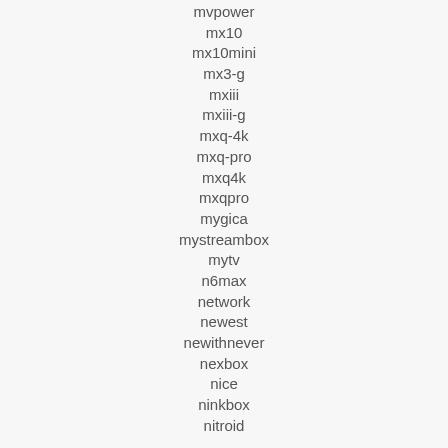mvpower
mx10
mx10mini
mx3-g
mxiii
mxiii-g
mxq-4k
mxq-pro
mxq4k
mxqpro
mygica
mystreambox
mytv
n6max
network
newest
newithnever
nexbox
nice
ninkbox
nitroid